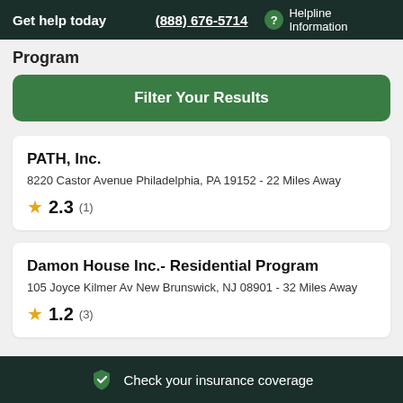Get help today  (888) 676-5714  Helpline Information
Program
Filter Your Results
PATH, Inc.
8220 Castor Avenue Philadelphia, PA 19152 - 22 Miles Away
★ 2.3 (1)
Damon House Inc.- Residential Program
105 Joyce Kilmer Av New Brunswick, NJ 08901 - 32 Miles Away
★ 1.2 (3)
Check your insurance coverage